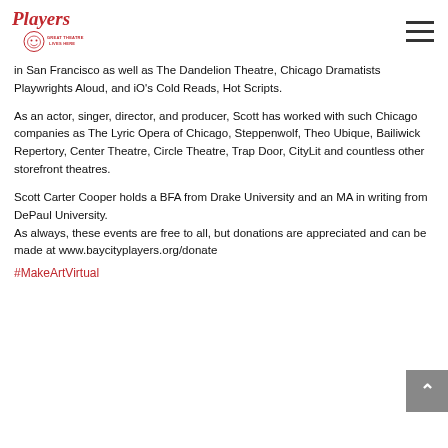[Figure (logo): Bay City Players logo with script 'Players' in red, mask icon, and tagline 'GREAT THEATRE LIVES HERE']
in San Francisco as well as The Dandelion Theatre, Chicago Dramatists Playwrights Aloud, and iO's Cold Reads, Hot Scripts.
As an actor, singer, director, and producer, Scott has worked with such Chicago companies as The Lyric Opera of Chicago, Steppenwolf, Theo Ubique, Bailiwick Repertory, Center Theatre, Circle Theatre, Trap Door, CityLit and countless other storefront theatres.
Scott Carter Cooper holds a BFA from Drake University and an MA in writing from DePaul University.
As always, these events are free to all, but donations are appreciated and can be made at www.baycityplayers.org/donate
#MakeArtVirtual